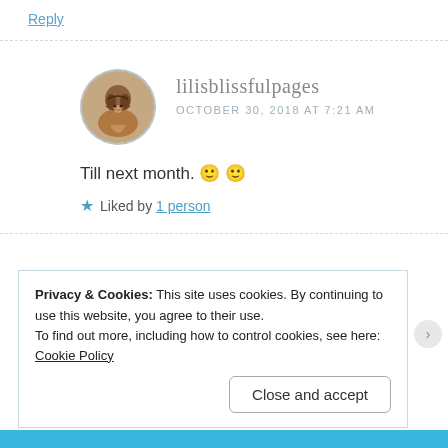Reply
lilisblissfulpages
OCTOBER 30, 2018 AT 7:21 AM
Till next month. 🙂 🙂
★ Liked by 1 person
Privacy & Cookies: This site uses cookies. By continuing to use this website, you agree to their use.
To find out more, including how to control cookies, see here: Cookie Policy
Close and accept